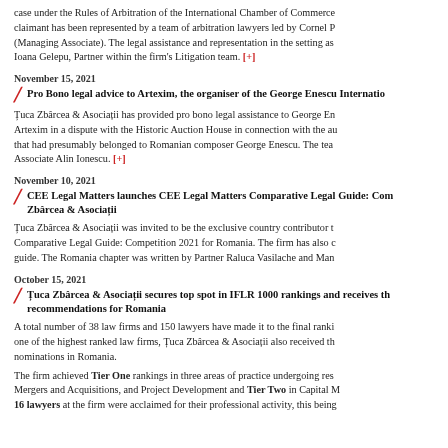case under the Rules of Arbitration of the International Chamber of Commerce claimant has been represented by a team of arbitration lawyers led by Cornel P (Managing Associate). The legal assistance and representation in the setting as Ioana Gelepu, Partner within the firm's Litigation team. [+]
November 15, 2021
Pro Bono legal advice to Artexim, the organiser of the George Enescu Internatio...
Țuca Zbârcea & Asociații has provided pro bono legal assistance to George En Artexim in a dispute with the Historic Auction House in connection with the au that had presumably belonged to Romanian composer George Enescu. The tea Associate Alin Ionescu. [+]
November 10, 2021
CEE Legal Matters launches CEE Legal Matters Comparative Legal Guide: Co... Zbârcea & Asociații
Țuca Zbârcea & Asociații was invited to be the exclusive country contributor t Comparative Legal Guide: Competition 2021 for Romania. The firm has also c guide. The Romania chapter was written by Partner Raluca Vasilache and Man
October 15, 2021
Țuca Zbârcea & Asociații secures top spot in IFLR 1000 rankings and receives th recommendations for Romania
A total number of 38 law firms and 150 lawyers have made it to the final ranki one of the highest ranked law firms, Țuca Zbârcea & Asociații also received th nominations in Romania.
The firm achieved Tier One rankings in three areas of practice undergoing res Mergers and Acquisitions, and Project Development and Tier Two in Capital M 16 lawyers at the firm were acclaimed for their professional activity, this being